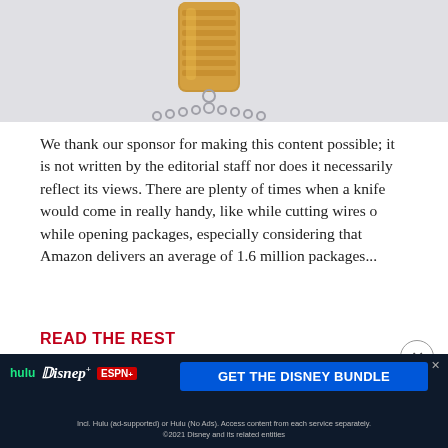[Figure (photo): Close-up photo of a gold cylindrical knob or barrel with a bead chain attached, on a light grey background]
We thank our sponsor for making this content possible; it is not written by the editorial staff nor does it necessarily reflect its views. There are plenty of times when a knife would come in really handy, like while cutting wires o while opening packages, especially considering that Amazon delivers an average of 1.6 million packages...
READ THE REST
[Figure (screenshot): Disney Bundle advertisement banner with Hulu, Disney+, ESPN+ logos and a blue 'GET THE DISNEY BUNDLE' button. Fine print: Incl. Hulu (ad-supported) or Hulu (No Ads). Access content from each service separately. ©2021 Disney and its related entities]